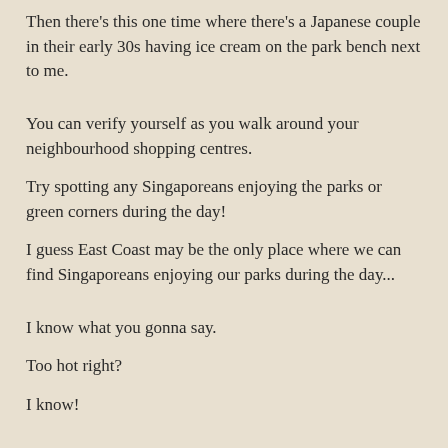Then there's this one time where there's a Japanese couple in their early 30s having ice cream on the park bench next to me.
You can verify yourself as you walk around your neighbourhood shopping centres.
Try spotting any Singaporeans enjoying the parks or green corners during the day!
I guess East Coast may be the only place where we can find Singaporeans enjoying our parks during the day...
I know what you gonna say.
Too hot right?
I know!